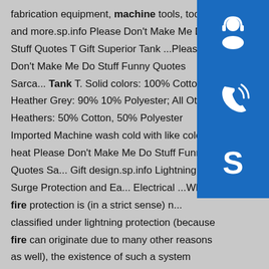fabrication equipment, machine tools, tooling and more.sp.info Please Don't Make Me Do Stuff Quotes T Gift Superior Tank ...Please Don't Make Me Do Stuff Funny Quotes Sarca... Tank T. Solid colors: 100% Cotton; Heather Grey: 90% 10% Polyester; All Other Heathers: 50% Cotton, 50% Polyester Imported Machine wash cold with like colors heat Please Don't Make Me Do Stuff Funny Quotes Sa... Gift design.sp.info Lightning, Surge Protection and Ea... Electrical ...While fire protection is (in a strict sense) n... classified under lightning protection (because fire can originate due to many other reasons as well), the existence of such a system considerably reduces the overall risk and can affect the choice of the level of lightning protection needed (the concept protection levels will be covered in ...Some results are removed in response to a notice of local law requirement. For
[Figure (illustration): Three blue square buttons stacked vertically on the right side: a customer support/headset icon, a phone/call icon, and a Skype icon]